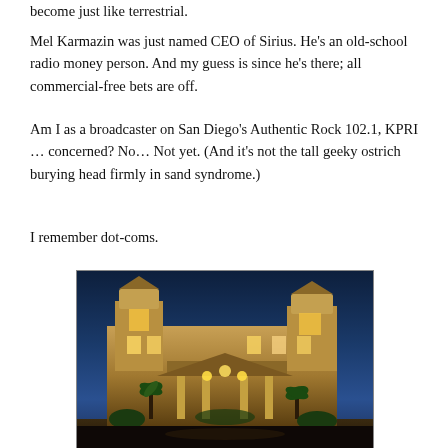become just like terrestrial.
Mel Karmazin was just named CEO of Sirius. He's an old-school radio money person. And my guess is since he's there; all commercial-free bets are off.
Am I as a broadcaster on San Diego's Authentic Rock 102.1, KPRI … concerned? No… Not yet. (And it's not the tall geeky ostrich burying head firmly in sand syndrome.)
I remember dot-coms.
[Figure (photo): Advertisement for Grand Pacific Palisades Resort & Hotel showing illuminated building at dusk with warm lights, palm trees, and a dark blue evening sky. Below the photo: hotel name in grey bar, and a 'Rise & Dine Meal Package' offer starting at $129 with 'FREE BREAKFAST at the award-winning' text.]